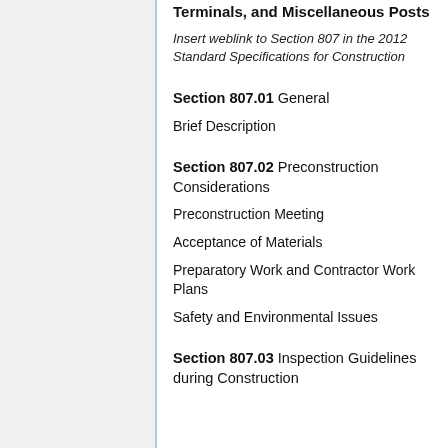Terminals, and Miscellaneous Posts
Insert weblink to Section 807 in the 2012 Standard Specifications for Construction
Section 807.01 General
Brief Description
Section 807.02 Preconstruction Considerations
Preconstruction Meeting
Acceptance of Materials
Preparatory Work and Contractor Work Plans
Safety and Environmental Issues
Section 807.03 Inspection Guidelines during Construction